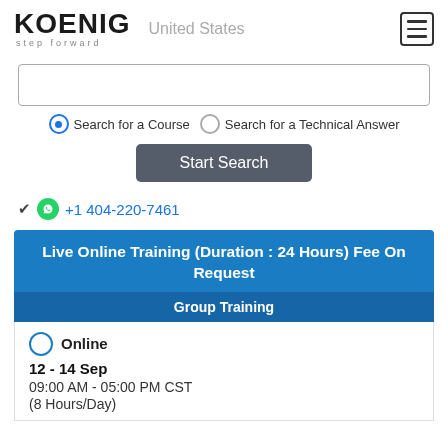KOENIG step forward   United States
Search for a Course   Search for a Technical Answer
Start Search
+1 404-220-7461
Live Online Training (Duration : 24 Hours) Fee On Request
Group Training
Online
12 - 14 Sep
09:00 AM - 05:00 PM CST
(8 Hours/Day)